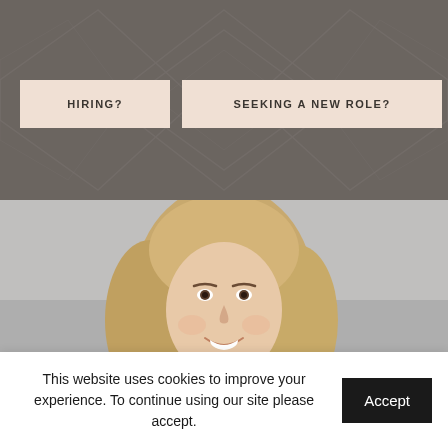[Figure (other): Dark taupe/grey background with decorative diamond/chevron pattern overlay. Two light beige/pink buttons labeled HIRING? and SEEKING A NEW ROLE? are displayed over the background.]
[Figure (photo): Professional headshot of a smiling blonde woman against a light grey background, cropped at the shoulders.]
This website uses cookies to improve your experience. To continue using our site please accept.
Accept